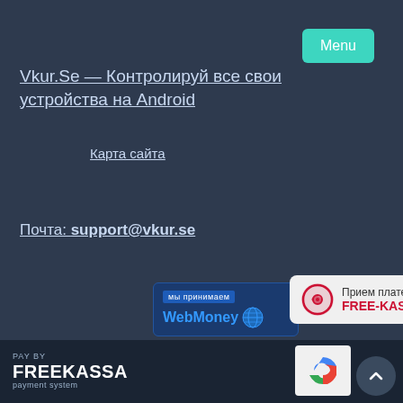[Figure (screenshot): Menu button (teal/green rounded rectangle) in top right corner]
Vkur.Se — Контролируй все свои устройства на Android
Карта сайта
Почта: support@vkur.se
[Figure (logo): WebMoney badge - мы принимаем WebMoney with globe icon]
[Figure (logo): FREE-KASSA badge - Прием платежей FREE-KASSA with seal logo]
Copyright by Vkur.Se 2022
[Figure (logo): PAY BY FREEKASSA payment system footer logo]
[Figure (other): Scroll to top button (dark circle with up arrow)]